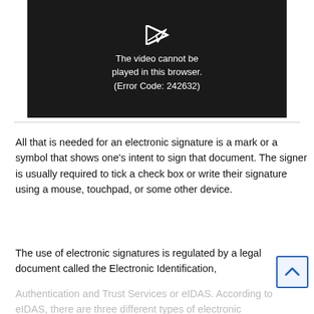[Figure (screenshot): Video player showing error message: 'The video cannot be played in this browser. (Error Code: 242632)' on dark background with a person at a computer visible behind the overlay.]
All that is needed for an electronic signature is a mark or a symbol that shows one's intent to sign that document. The signer is usually required to tick a check box or write their signature using a mouse, touchpad, or some other device.
The use of electronic signatures is regulated by a legal document called the Electronic Identification, Authentication and Trust Services or eIDAS. According to eIDAS, there are three different types of electronic